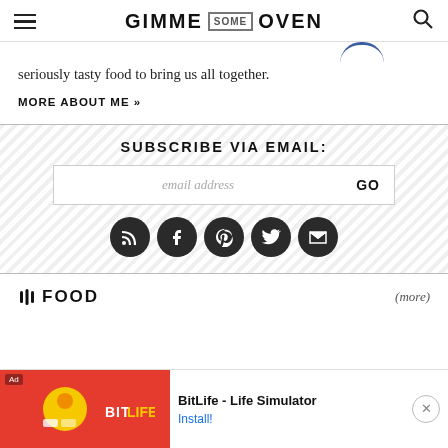GIMME SOME OVEN
seriously tasty food to bring us all together.
MORE ABOUT ME »
SUBSCRIBE VIA EMAIL:
[Figure (screenshot): Email subscription form with text field and GO button]
[Figure (infographic): Row of 5 dark circular social media icons: RSS, Facebook, Pinterest, Twitter, Email]
FOOD (more)
[Figure (screenshot): Ad banner for BitLife - Life Simulator app with red background game screenshot and Install button]